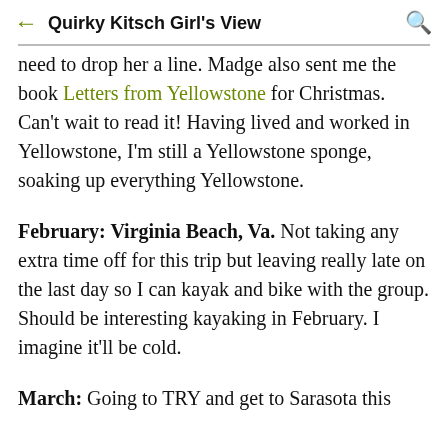Quirky Kitsch Girl's View
need to drop her a line. Madge also sent me the book Letters from Yellowstone for Christmas. Can't wait to read it! Having lived and worked in Yellowstone, I'm still a Yellowstone sponge, soaking up everything Yellowstone.
February: Virginia Beach, Va. Not taking any extra time off for this trip but leaving really late on the last day so I can kayak and bike with the group. Should be interesting kayaking in February. I imagine it'll be cold.
March: Going to TRY and get to Sarasota this